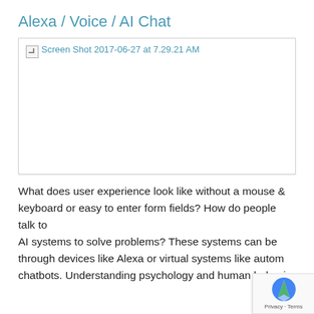Alexa / Voice / AI Chat
[Figure (screenshot): Broken image placeholder with alt text 'Screen Shot 2017-06-27 at 7.29.21 AM' inside a white bordered box]
What does user experience look like without a mouse & keyboard or easy to enter form fields? How do people talk to AI systems to solve problems? These systems can be through devices like Alexa or virtual systems like autom chatbots. Understanding psychology and human behavior